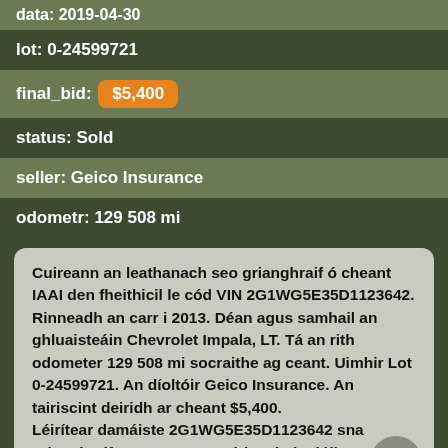data: 2019-04-30
lot: 0-24599721
final_bid: $5,400
status: Sold
seller: Geico Insurance
odometr: 129 508 mi
Cuireann an leathanach seo grianghraif ó cheant IAAI den fheithicil le cód VIN 2G1WG5E35D1123642. Rinneadh an carr i 2013. Déan agus samhail an ghluaisteáin Chevrolet Impala, LT. Tá an rith odometer 129 508 mi socraithe ag ceant. Uimhir Lot 0-24599721. An díoltóir Geico Insurance. An tairiscint deiridh ar cheant $5,400. Léirítear damáiste 2G1WG5E35D1123642 sna grianghraif seo agus sa tuairisc theicniúil 6016933